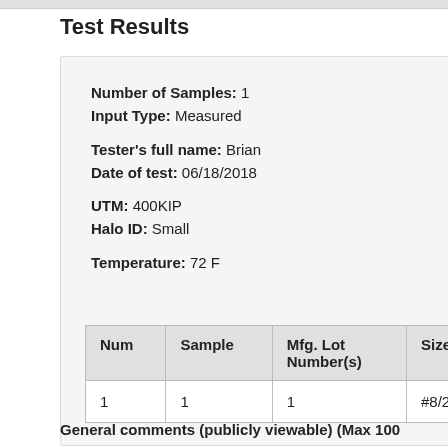Test Results
Number of Samples:  1
Input Type:  Measured
Tester's full name:  Brian
Date of test:  06/18/2018
UTM:  400KIP
Halo ID:  Small
Temperature:  72 F
| Num | Sample | Mfg. Lot Number(s) | Size |
| --- | --- | --- | --- |
| 1 | 1 | 1 | #8/25m |
General comments (publicly viewable) (Max 100